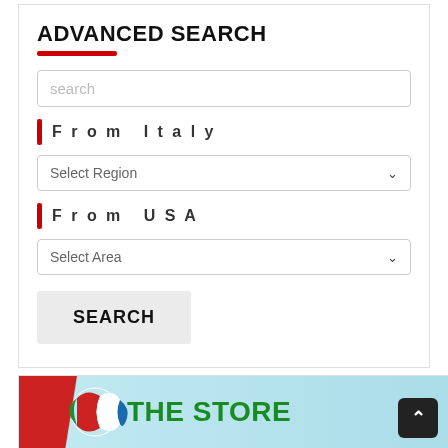ADVANCED SEARCH
search
From Italy
Select Region
From USA
Select Area
SEARCH
[Figure (illustration): Banner with THE STORE text on a light blue background with red and green elements and Italian/American flag design]